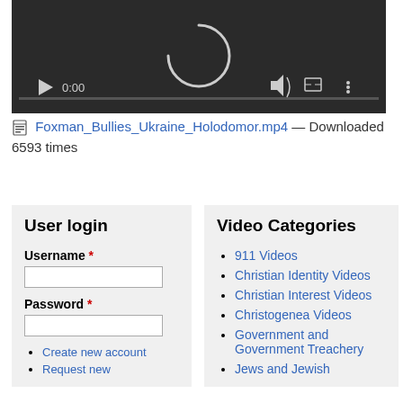[Figure (screenshot): Video player with dark background showing a loading spinner, playback controls (play button, 0:00 timestamp, volume icon, fullscreen icon, menu dots), and a progress bar.]
🎬 Foxman_Bullies_Ukraine_Holodomor.mp4 — Downloaded 6593 times
User login
Username *
Password *
Create new account
Request new
Video Categories
911 Videos
Christian Identity Videos
Christian Interest Videos
Christogenea Videos
Government and Government Treachery
Jews and Jewish